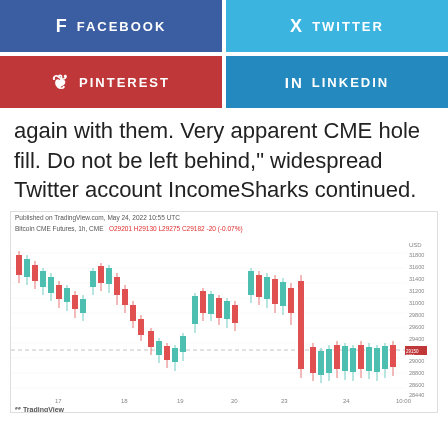[Figure (other): Social media share buttons: Facebook (blue), Twitter (light blue), Pinterest (red), LinkedIn (blue)]
again with them. Very apparent CME hole fill. Do not be left behind," widespread Twitter account IncomeSharks continued.
[Figure (continuous-plot): Bitcoin CME Futures 1h candlestick chart from TradingView, published May 24, 2022 10:55 UTC. Shows price action between dates 17-24+, with USD prices ranging approximately 28400 to 31800. Red and teal/green candlesticks. Horizontal dashed line around 29150 level. Last price shown ~29150 with red label.]